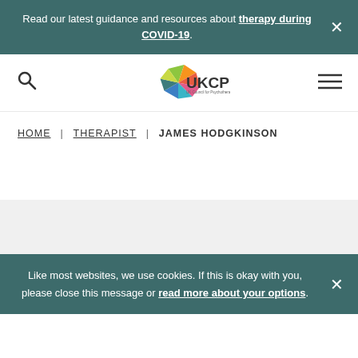Read our latest guidance and resources about therapy during COVID-19.
[Figure (logo): UKCP - UK Council for Psychotherapy logo with colorful star/pinwheel graphic]
HOME | THERAPIST | JAMES HODGKINSON
Like most websites, we use cookies. If this is okay with you, please close this message or read more about your options.